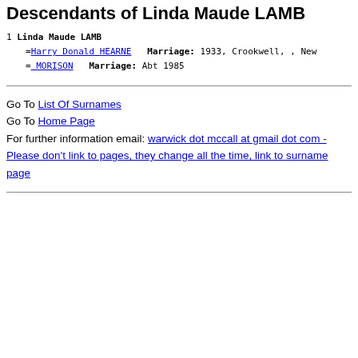Descendants of Linda Maude LAMB
1  Linda Maude LAMB
  =Harry Donald HEARNE  Marriage: 1933, Crookwell, , New
  = MORISON  Marriage: Abt 1985
Go To List Of Surnames
Go To Home Page
For further information email: warwick dot mccall at gmail dot com - Please don't link to pages, they change all the time, link to surname page